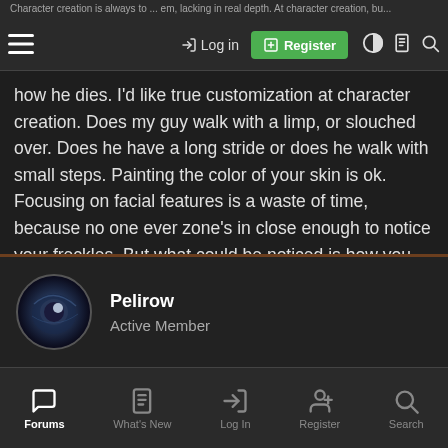Character creation is always to... em, lacking in real depth. At character creation, bu... Log in | Register
how he dies. I'd like true customization at character creation. Does my guy walk with a limp, or slouched over. Does he have a long stride or does he walk with small steps. Painting the color of your skin is ok. Focusing on facial features is a waste of time, because no one ever zone's in close enough to notice your freckles. But what could be noticed is how you walk, how you run, how you sit which hand you swing your sword with and which hand you carry a shield in. Yet game studios' all still think we have to have boob sliders and acne on our character creation options. I have yet to see character creation where it actually lets me customize my character.
Pelirow
Active Member
Forums | What's New | Log In | Register | Search